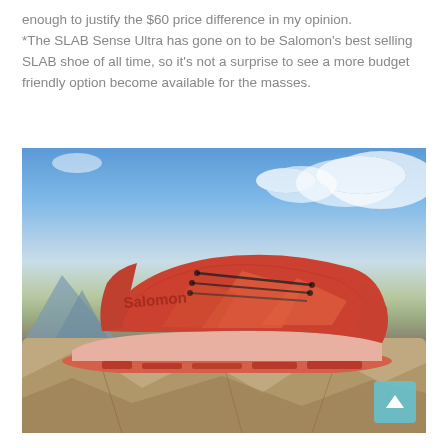enough to justify the $60 price difference in my opinion. *The SLAB Sense Ultra has gone on to be Salomon's best selling SLAB shoe of all time, so it's not a surprise to see a more budget friendly option become available for the masses.
[Figure (photo): A red/orange Salomon trail running shoe (Sense Ultra) photographed on rocky terrain with a blue sky and clouds in the background. The shoe is displayed from the side profile showing the Salomon branding and distinctive wing-like overlays.]